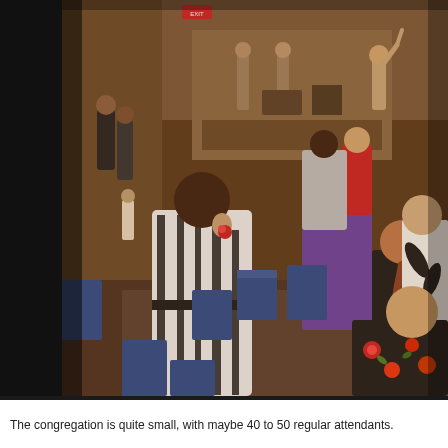[Figure (photo): Indoor church worship service with a congregation of approximately 40-50 people standing in a room with blue chairs. In the foreground, a woman in a black-and-white zebra print dress holds a red flower and sings or prays, while others around her participate. In the background, a praise band with musicians and a speaker with raised hand lead worship at the front of the room. Warm ambient lighting.]
The congregation is quite small, with maybe 40 to 50 regular attendants.